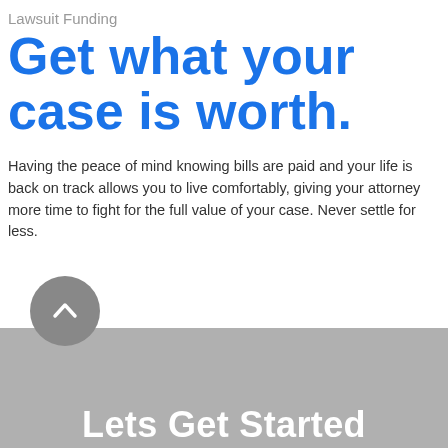Lawsuit Funding
Get what your case is worth.
Having the peace of mind knowing bills are paid and your life is back on track allows you to live comfortably, giving your attorney more time to fight for the full value of your case. Never settle for less.
[Figure (other): Black rounded rectangle button with white text 'Apply Now']
[Figure (other): Gray circular scroll-up button with upward chevron arrow]
Lets Get Started